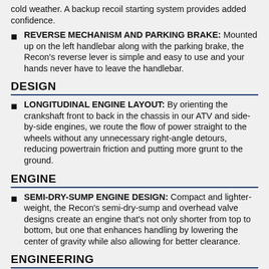cold weather. A backup recoil starting system provides added confidence.
REVERSE MECHANISM AND PARKING BRAKE: Mounted up on the left handlebar along with the parking brake, the Recon's reverse lever is simple and easy to use and your hands never have to leave the handlebar.
DESIGN
LONGITUDINAL ENGINE LAYOUT: By orienting the crankshaft front to back in the chassis in our ATV and side-by-side engines, we route the flow of power straight to the wheels without any unnecessary right-angle detours, reducing powertrain friction and putting more grunt to the ground.
ENGINE
SEMI-DRY-SUMP ENGINE DESIGN: Compact and lighter-weight, the Recon's semi-dry-sump and overhead valve designs create an engine that's not only shorter from top to bottom, but one that enhances handling by lowering the center of gravity while also allowing for better clearance.
ENGINEERING
SHAFT DRIVE: Clean, efficient, proven, low-maintenan…